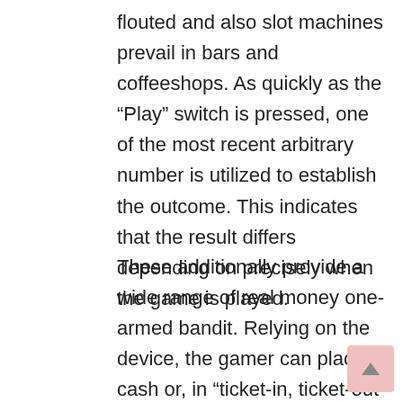flouted and also slot machines prevail in bars and coffeeshops. As quickly as the “Play” switch is pressed, one of the most recent arbitrary number is utilized to establish the outcome. This indicates that the result differs depending on precisely when the game is played.
These additionally provide a wide range of real money one-armed bandit. Relying on the device, the gamer can place cash or, in “ticket-in, ticket-out” devices, a paper ticket with a barcode, right into a marked slot on the equipment. The device is then triggered by means of a lever or switch, which triggers reels